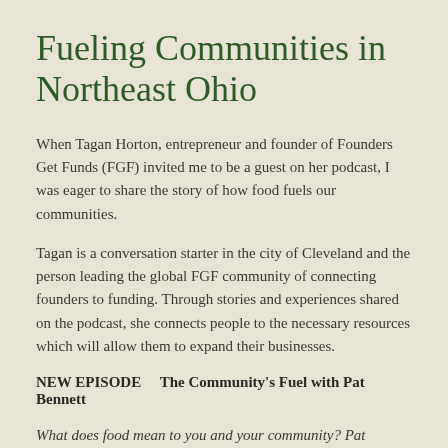Fueling Communities in Northeast Ohio
When Tagan Horton, entrepreneur and founder of Founders Get Funds (FGF) invited me to be a guest on her podcast, I was eager to share the story of how food fuels our communities.
Tagan is a conversation starter in the city of Cleveland and the person leading the global FGF community of connecting founders to funding. Through stories and experiences shared on the podcast, she connects people to the necessary resources which will allow them to expand their businesses.
NEW EPISODE    The Community's Fuel with Pat Bennett
What does food mean to you and your community? Pat Bennett is the creator of real food that tastes good, has health giving